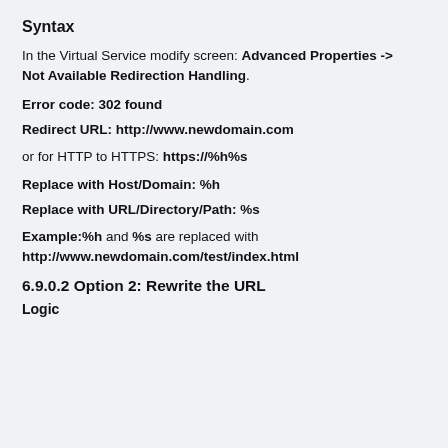Syntax
In the Virtual Service modify screen: Advanced Properties -> Not Available Redirection Handling.
Error code: 302 found
Redirect URL: http://www.newdomain.com
or for HTTP to HTTPS: https://%h%s
Replace with Host/Domain: %h
Replace with URL/Directory/Path: %s
Example:%h and %s are replaced with http://www.newdomain.com/test/index.html
6.9.0.2 Option 2: Rewrite the URL
Logic